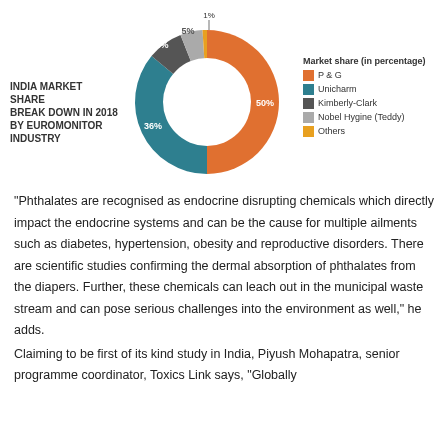[Figure (donut-chart): India Market Share Break Down in 2018 by Euromonitor Industry]
“Phthalates are recognised as endocrine disrupting chemicals which directly impact the endocrine systems and can be the cause for multiple ailments such as diabetes, hypertension, obesity and reproductive disorders. There are scientific studies confirming the dermal absorption of phthalates from the diapers. Further, these chemicals can leach out in the municipal waste stream and can pose serious challenges into the environment as well,” he adds.
Claiming to be first of its kind study in India, Piyush Mohapatra, senior programme coordinator, Toxics Link says, “Globally